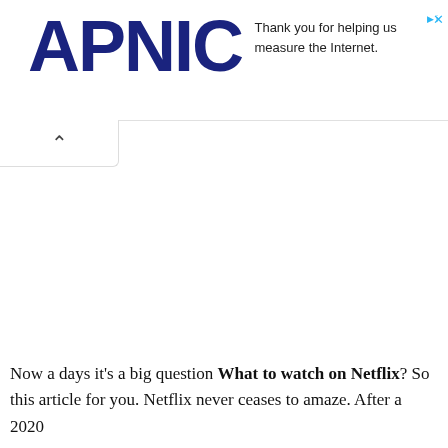APNIC — Thank you for helping us measure the Internet.
Now a days it's a big question What to watch on Netflix? So this article for you. Netflix never ceases to amaze. After a 2020